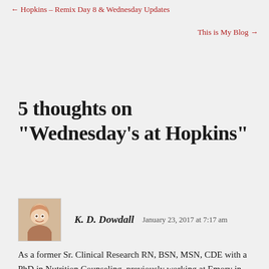← Hopkins – Remix Day 8 & Wednesday Updates
This is My Blog →
5 thoughts on “Wednesday’s at Hopkins”
K. D. Dowdall   January 23, 2017 at 7:17 am
As a former Sr. Clinical Research RN, BSN, MSN, CDE with a PhD in Nutrition Counseling, previously working at Emory in Atlanta, as well as spending 6 years caring for people with GI problems of every kind, like GERD, I